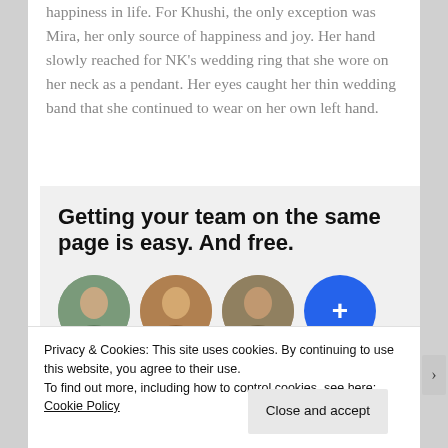happiness in life. For Khushi, the only exception was Mira, her only source of happiness and joy. Her hand slowly reached for NK's wedding ring that she wore on her neck as a pendant. Her eyes caught her thin wedding band that she continued to wear on her own left hand.
[Figure (infographic): Advertisement banner with bold headline 'Getting your team on the same page is easy. And free.' with profile avatars below including a blue circle with plus sign.]
Privacy & Cookies: This site uses cookies. By continuing to use this website, you agree to their use.
To find out more, including how to control cookies, see here: Cookie Policy
Close and accept